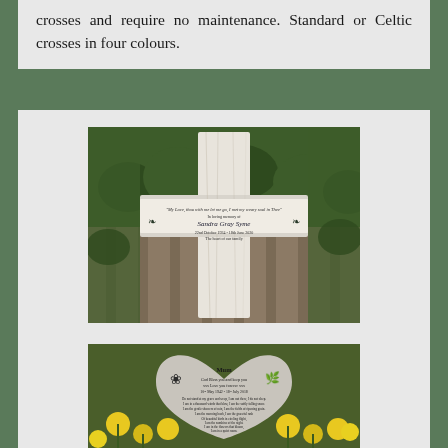crosses and require no maintenance. Standard or Celtic crosses in four colours.
[Figure (photo): A white marble cross memorial with a plaque reading 'In Loving memory of Sandra Gray Syme, 22nd October 1934 - 18th June 2020, The heart of our family', set against a wooden bench background with greenery.]
[Figure (photo): A heart-shaped grey granite memorial plaque with engraved text reading 'Mum God Bless you and keep you xxx Love you forever xxx 10th May 1942 - 18th July 2018' and a poem, set among yellow flowers.]